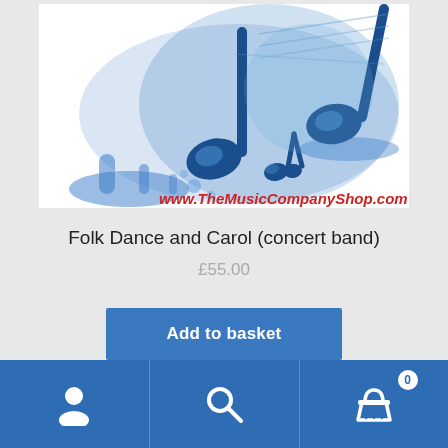[Figure (illustration): Music-themed product image with blue musical notes and paint splash effect, URL www.TheMusicCompanyShop.com shown in red text at bottom right]
Folk Dance and Carol (concert band)
£55.00
Add to basket
[Figure (infographic): Blue navigation bar with person/account icon, search/magnifying glass icon, and shopping basket icon with badge showing 0]